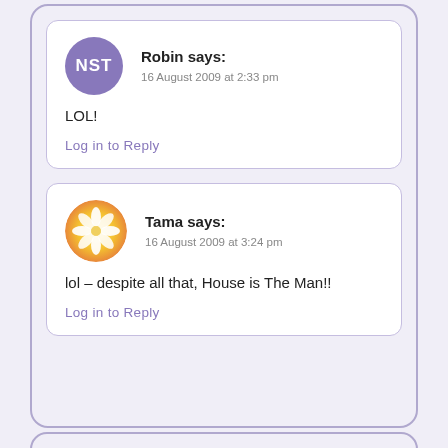Robin says:
16 August 2009 at 2:33 pm
LOL!
Log in to Reply
Tama says:
16 August 2009 at 3:24 pm
lol – despite all that, House is The Man!!
Log in to Reply